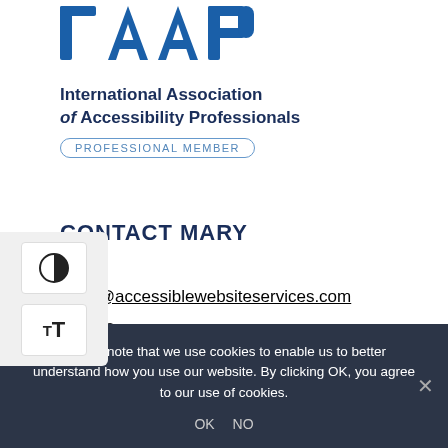[Figure (logo): IAAP logo — bold blue letters 'IAAP' with flag motifs, followed by 'International Association of Accessibility Professionals' in dark navy bold text, and 'PROFESSIONAL MEMBER' in a rounded pill badge]
[Figure (other): Accessibility toolbar with contrast toggle (half-circle icon) and text size toggle (TT icon) on left side of page]
CONTACT MARY
Email
mary@accessiblewebsiteservices.com
Phone
Please note that we use cookies to enable us to better understand how you use our website. By clicking OK, you agree to our use of cookies.
OK   NO